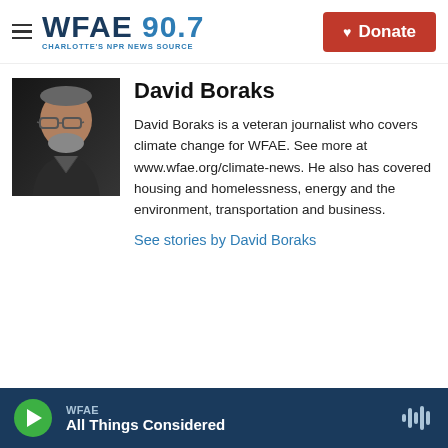WFAE 90.7 CHARLOTTE'S NPR NEWS SOURCE | Donate
David Boraks
[Figure (photo): Headshot of David Boraks, a middle-aged man with glasses and a gray beard wearing a dark jacket]
David Boraks is a veteran journalist who covers climate change for WFAE. See more at www.wfae.org/climate-news. He also has covered housing and homelessness, energy and the environment, transportation and business.
See stories by David Boraks
WFAE | All Things Considered